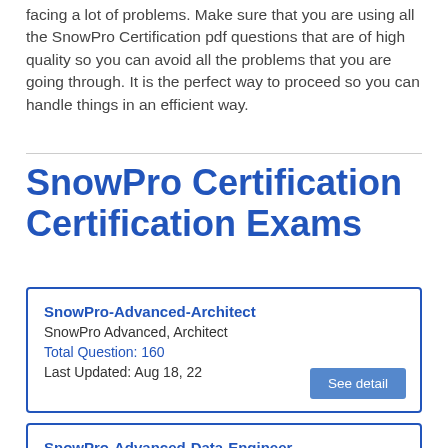facing a lot of problems. Make sure that you are using all the SnowPro Certification pdf questions that are of high quality so you can avoid all the problems that you are going through. It is the perfect way to proceed so you can handle things in an efficient way.
SnowPro Certification Certification Exams
| SnowPro-Advanced-Architect | SnowPro Advanced, Architect | Total Question: 160 | Last Updated: Aug 18, 22 | See detail |
SnowPro-Advanced-Data-Engineer